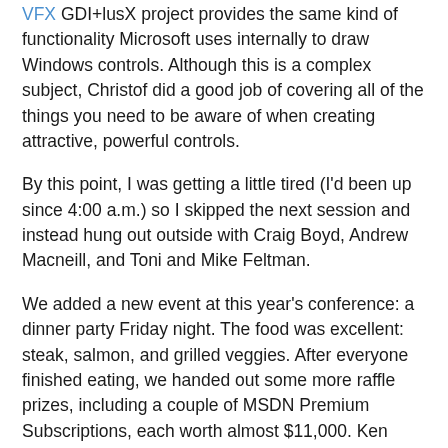VFX GDI+lusX project provides the same kind of functionality Microsoft uses internally to draw Windows controls. Although this is a complex subject, Christof did a good job of covering all of the things you need to be aware of when creating attractive, powerful controls.
By this point, I was getting a little tired (I'd been up since 4:00 a.m.) so I skipped the next session and instead hung out outside with Craig Boyd, Andrew Macneill, and Toni and Mike Feltman.
We added a new event at this year's conference: a dinner party Friday night. The food was excellent: steak, salmon, and grilled veggies. After everyone finished eating, we handed out some more raffle prizes, including a couple of MSDN Premium Subscriptions, each worth almost $11,000. Ken Levy also had some prizes to give away: copies of previous versions of VFP, including VFP for the PowerMac, that had been in his office at Microsoft. One of the winners, Boudewijn Lutgerink of the Netherlands, announced that he couldn't take his package home because it was too heavy (that was from the days when software used to come with manuals) and did a not-so-silent auction to raise money for